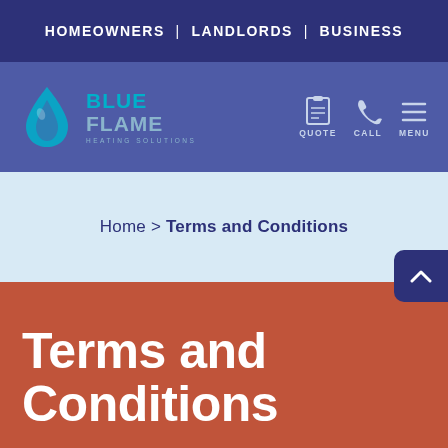HOMEOWNERS | LANDLORDS | BUSINESS
[Figure (logo): Blue Flame Heating Solutions logo with flame/droplet icon in teal, company name in teal and light blue, subtitle in light blue]
QUOTE CALL MENU
Home > Terms and Conditions
Terms and Conditions